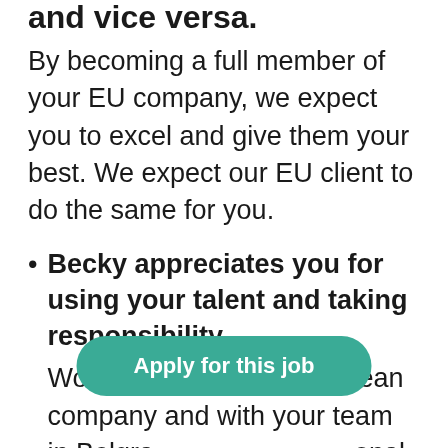and vice versa.
By becoming a full member of your EU company, we expect you to excel and give them your best. We expect our EU client to do the same for you.
Becky appreciates you for using your talent and taking responsibility
Work for a Western European company and with your team in Belgrade, professional in international, grow as a person.